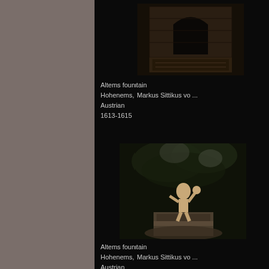[Figure (photo): Dark photograph of a stone arch/fountain wall detail, Altems fountain, Hohenems]
Altems fountain
Hohenems, Markus Sittikus vo ...
Austrian
1613-1615
[Figure (photo): Dark photograph of a sculpture/statue on a pedestal surrounded by trees, Altems fountain, Hohenems]
Altems fountain
Hohenems, Markus Sittikus vo ...
Austrian
1613-1615